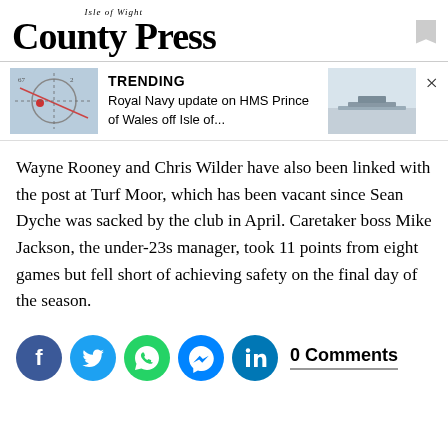Isle of Wight County Press
[Figure (screenshot): Trending news banner with two thumbnail images and headline: TRENDING — Royal Navy update on HMS Prince of Wales off Isle of...]
Wayne Rooney and Chris Wilder have also been linked with the post at Turf Moor, which has been vacant since Sean Dyche was sacked by the club in April. Caretaker boss Mike Jackson, the under-23s manager, took 11 points from eight games but fell short of achieving safety on the final day of the season.
[Figure (infographic): Social share buttons: Facebook, Twitter, WhatsApp, Messenger, LinkedIn; and 0 Comments label]